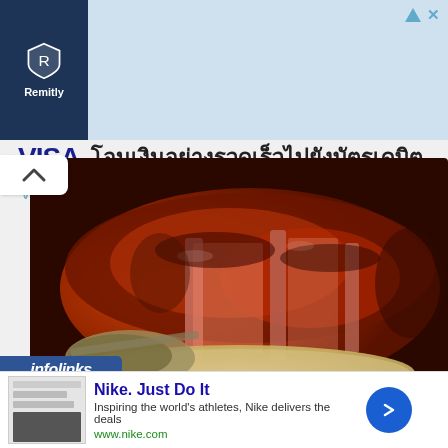[Figure (other): Remitly and Visa advertisement banner in Thai language. Dark navy box with Remitly logo on left, Visa logo and Thai text on light blue background. Thai text reads: โอนเงินอย่างรวดเร็วไปยังบัตรเดบิต Visa ในต่างประเทศ]
[Figure (photo): Close-up photo of sliced glazed char siu or roasted pork with a dark caramelized exterior, served on a plate with a ladle. Watermark text reads www.mamasguiderecipes.com]
Credits @chinese_carnivore
[Figure (other): infolinks advertisement label bar in dark blue]
[Figure (other): Nike advertisement: Nike. Just Do It. Inspiring the world's athletes, Nike delivers the deals. www.nike.com. With a thumbnail image and blue circular arrow button.]